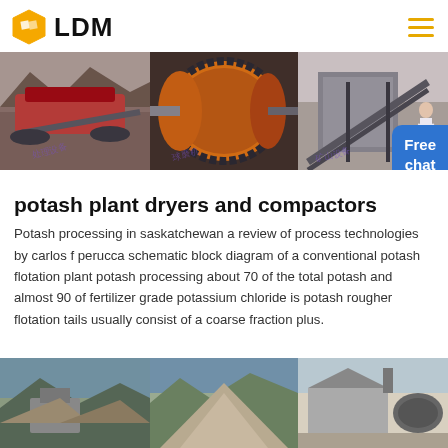LDM
[Figure (photo): Three industrial mining/processing machinery photos: red mobile crusher on tracks, orange ball mill drum close-up, conveyor belt system at quarry]
potash plant dryers and compactors
Potash processing in saskatchewan a review of process technologies by carlos f perucca schematic block diagram of a conventional potash flotation plant potash processing about 70 of the total potash and almost 90 of fertilizer grade potassium chloride is potash rougher flotation tails usually consist of a coarse fraction plus.
[Figure (photo): Three photos of mining quarry sites: crushed stone pile with machinery, gravel stockpile landscape, industrial dryer or rotary kiln equipment]